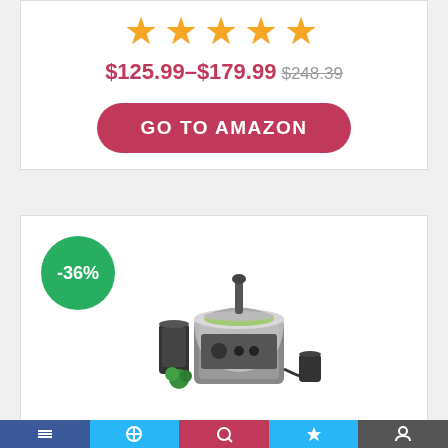★★★★★ (5 stars)
$125.99–$179.99 $248.39
GO TO AMAZON
[Figure (photo): Food processor product image with -36% discount badge]
Elemental 13 Cup Food Processor with Spiralizer & Accessory Storage Case
★★★★★ (5 stars)
$111.45–$159.21 $216.53